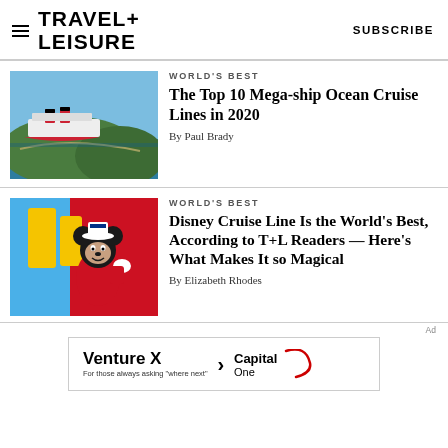TRAVEL+ LEISURE  SUBSCRIBE
[Figure (photo): Aerial view of a cruise ship near a tropical port with lush green hillside]
WORLD'S BEST
The Top 10 Mega-ship Ocean Cruise Lines in 2020
By Paul Brady
[Figure (photo): Mickey Mouse dressed as a ship captain in red uniform, standing on Disney cruise ship deck]
WORLD'S BEST
Disney Cruise Line Is the World's Best, According to T+L Readers — Here's What Makes It so Magical
By Elizabeth Rhodes
[Figure (infographic): Venture X Capital One advertisement banner: Venture X > CapitalOne, For those always asking 'where next']